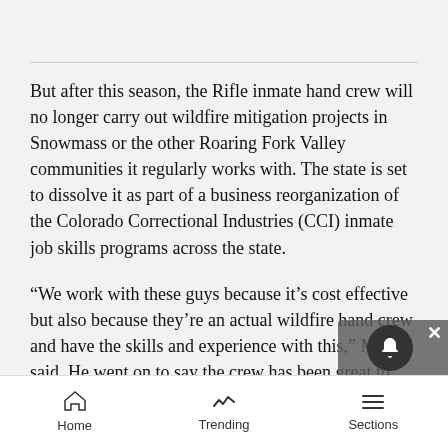But after this season, the Rifle inmate hand crew will no longer carry out wildfire mitigation projects in Snowmass or the other Roaring Fork Valley communities it regularly works with. The state is set to dissolve it as part of a business reorganization of the Colorado Correctional Industries (CCI) inmate job skills programs across the state.
“We work with these guys because it’s cost effective but also because they’re an actual wildfire hand crew and have the skills and experience with this,” Mele said. He went on to say the crew has been great to work with over the years and a valuable asset to Snowmass Village. After this year, town partners will have to
Home   Trending   Sections